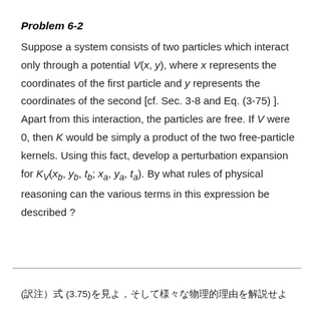Problem 6-2
Suppose a system consists of two particles which interact only through a potential V(x, y), where x represents the coordinates of the first particle and y represents the coordinates of the second [cf. Sec. 3-8 and Eq. (3-75) ]. Apart from this interaction, the particles are free. If V were 0, then K would be simply a product of the two free-particle kernels. Using this fact, develop a perturbation expansion for K_V(x_b, y_b, t_b; x_a, y_a, t_a). By what rules of physical reasoning can the various terms in this expression be described ?
(訳注) 式 (3.75)を見よ, そして様々な物理的理由を解説せよ